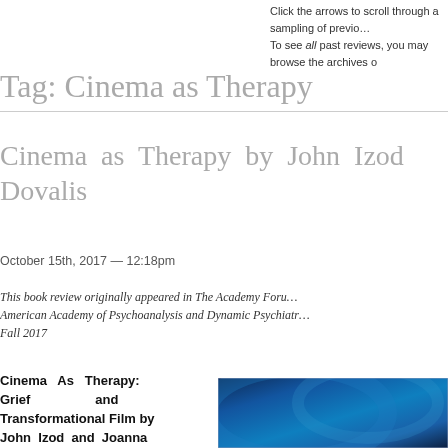Click the arrows to scroll through a sampling of previous reviews.
To see all past reviews, you may browse the archives o
Tag: Cinema as Therapy
Cinema as Therapy by John Izod Dovalis
October 15th, 2017 — 12:18pm
This book review originally appeared in The Academy Forum, American Academy of Psychoanalysis and Dynamic Psychiatry, Fall 2017
Cinema As Therapy: Grief and Transformational Film by John Izod and Joanna
[Figure (photo): Book cover image showing blue abstract design]